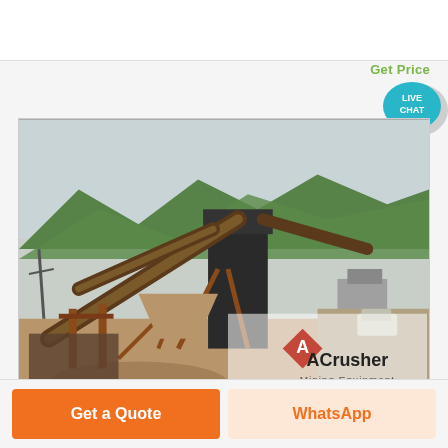Get Price
[Figure (illustration): Live Chat speech bubble icon with teal background and white text LIVE CHAT]
[Figure (photo): Industrial mining/crushing plant facility with conveyor belts, heavy machinery, orange rusty steel structures, mountains in background, dirt road, vehicle, and ACrusher Mining Equipment watermark logo in lower right corner]
Get a Quote
WhatsApp